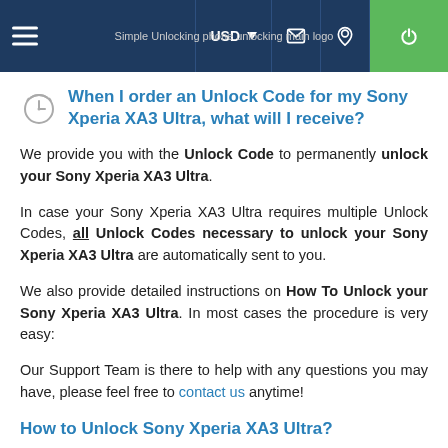USD  [nav icons] Simple Unlocking phone unlocking main logo
When I order an Unlock Code for my Sony Xperia XA3 Ultra, what will I receive?
We provide you with the Unlock Code to permanently unlock your Sony Xperia XA3 Ultra.
In case your Sony Xperia XA3 Ultra requires multiple Unlock Codes, all Unlock Codes necessary to unlock your Sony Xperia XA3 Ultra are automatically sent to you.
We also provide detailed instructions on How To Unlock your Sony Xperia XA3 Ultra. In most cases the procedure is very easy:
Our Support Team is there to help with any questions you may have, please feel free to contact us anytime!
How to Unlock Sony Xperia XA3 Ultra?